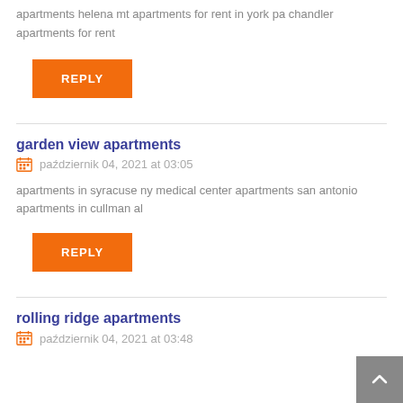apartments helena mt apartments for rent in york pa chandler apartments for rent
REPLY
garden view apartments
październik 04, 2021 at 03:05
apartments in syracuse ny medical center apartments san antonio apartments in cullman al
REPLY
rolling ridge apartments
październik 04, 2021 at 03:48